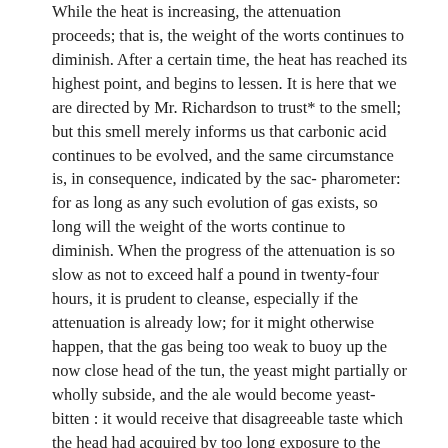While the heat is increasing, the attenuation proceeds; that is, the weight of the worts continues to diminish. After a certain time, the heat has reached its highest point, and begins to lessen. It is here that we are directed by Mr. Richardson to trust* to the smell; but this smell merely informs us that carbonic acid continues to be evolved, and the same circumstance is, in consequence, indicated by the sac- pharometer: for as long as any such evolution of gas exists, so long will the weight of the worts continue to diminish. When the progress of the attenuation is so slow as not to exceed half a pound in twenty-four hours, it is prudent to cleanse, especially if the attenuation is already low; for it might otherwise happen, that the gas being too weak to buoy up the now close head of the tun, the yeast might partially or wholly subside, and the ale would become yeast- bitten : it would receive that disagreeable taste which the head had acquired by too long exposure to the atmospheric air.